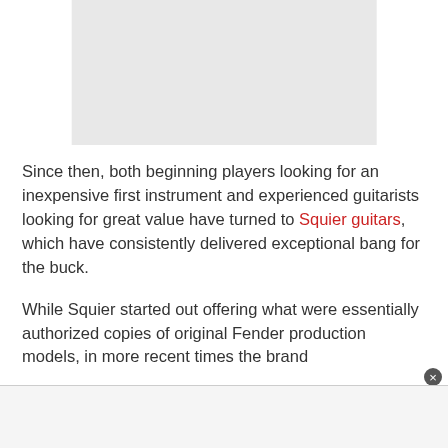[Figure (other): A light gray rectangular placeholder image area at the top of the page]
Since then, both beginning players looking for an inexpensive first instrument and experienced guitarists looking for great value have turned to Squier guitars, which have consistently delivered exceptional bang for the buck.
While Squier started out offering what were essentially authorized copies of original Fender production models, in more recent times the brand